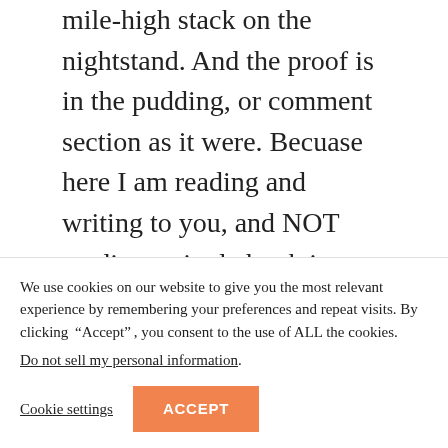mile-high stack on the nightstand. And the proof is in the pudding, or comment section as it were. Becuase here I am reading and writing to you, and NOT reading a single book in my mile-hir stack.

And, now, let’s get to what really intrigues me about this post: FOUR husbands. I really want
We use cookies on our website to give you the most relevant experience by remembering your preferences and repeat visits. By clicking “Accept”, you consent to the use of ALL the cookies. Do not sell my personal information.
Cookie settings  ACCEPT